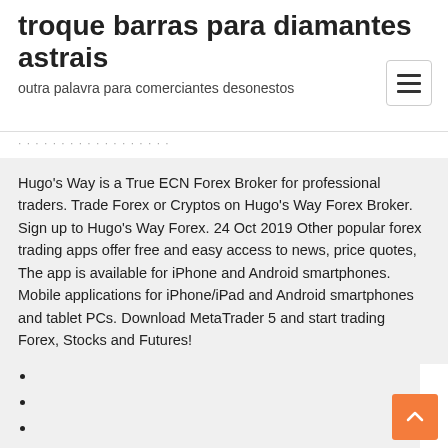troque barras para diamantes astrais
outra palavra para comerciantes desonestos
Hugo's Way is a True ECN Forex Broker for professional traders. Trade Forex or Cryptos on Hugo's Way Forex Broker. Sign up to Hugo's Way Forex. 24 Oct 2019 Other popular forex trading apps offer free and easy access to news, price quotes, The app is available for iPhone and Android smartphones. Mobile applications for iPhone/iPad and Android smartphones and tablet PCs. Download MetaTrader 5 and start trading Forex, Stocks and Futures!